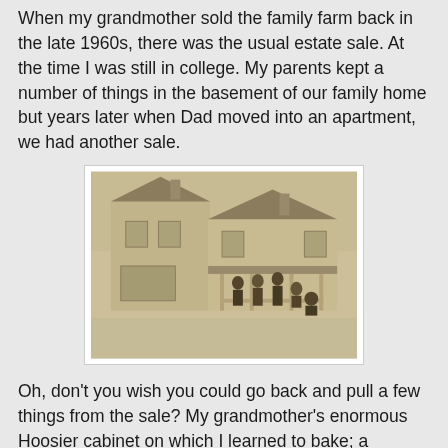When my grandmother sold the family farm back in the late 1960s, there was the usual estate sale. At the time I was still in college. My parents kept a number of things in the basement of our family home but years later when Dad moved into an apartment, we had another sale.
[Figure (photo): A sepia-toned historical photograph of a two-story farmhouse with a covered front porch. Several family members are visible on the porch and in front of the house, dressed in late 19th or early 20th century clothing.]
Oh, don't you wish you could go back and pull a few things from the sale? My grandmother's enormous Hoosier cabinet on which I learned to bake; a beautiful dresser -- Eastlake style, but probably not original, nonetheless lovely;